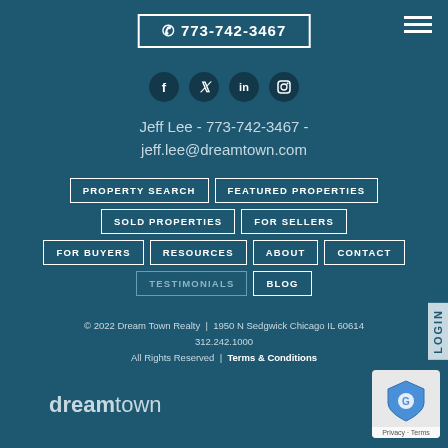☎ 773-742-3467
[Figure (illustration): Social media icons row: Facebook, Twitter, LinkedIn, Instagram on dark circular backgrounds]
Jeff Lee - 773-742-3467 - jeff.lee@dreamtown.com
PROPERTY SEARCH
FEATURED PROPERTIES
SOLD PROPERTIES
FOR SELLERS
FOR BUYERS
RESOURCES
ABOUT
CONTACT
TESTIMONIALS
BLOG
© 2022 Dream Town Realty | 1950 N Sedgwick Chicago IL 60614 312.242.1000 All Rights Reserved | Terms & Conditions
[Figure (logo): dreamtown logo text in light blue-gray]
[Figure (other): Google badge with shield icon and Privacy - Terms text]